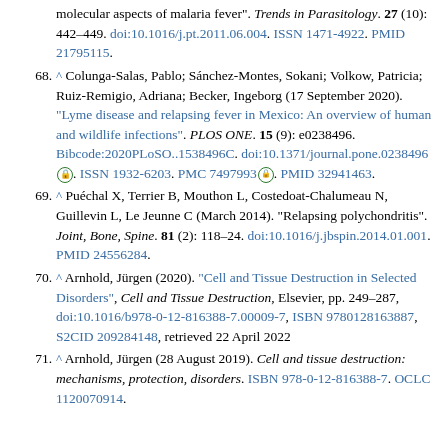molecular aspects of malaria fever". Trends in Parasitology. 27 (10): 442–449. doi:10.1016/j.pt.2011.06.004. ISSN 1471-4922. PMID 21795115.
68. ^ Colunga-Salas, Pablo; Sánchez-Montes, Sokani; Volkow, Patricia; Ruiz-Remigio, Adriana; Becker, Ingeborg (17 September 2020). "Lyme disease and relapsing fever in Mexico: An overview of human and wildlife infections". PLOS ONE. 15 (9): e0238496. Bibcode:2020PLoSO..1538496C. doi:10.1371/journal.pone.0238496. ISSN 1932-6203. PMC 7497993. PMID 32941463.
69. ^ Puéchal X, Terrier B, Mouthon L, Costedoat-Chalumeau N, Guillevin L, Le Jeunne C (March 2014). "Relapsing polychondritis". Joint, Bone, Spine. 81 (2): 118–24. doi:10.1016/j.jbspin.2014.01.001. PMID 24556284.
70. ^ Arnhold, Jürgen (2020). "Cell and Tissue Destruction in Selected Disorders", Cell and Tissue Destruction, Elsevier, pp. 249–287, doi:10.1016/b978-0-12-816388-7.00009-7, ISBN 9780128163887, S2CID 209284148, retrieved 22 April 2022
71. ^ Arnhold, Jürgen (28 August 2019). Cell and tissue destruction: mechanisms, protection, disorders. ISBN 978-0-12-816388-7. OCLC 1120070914.